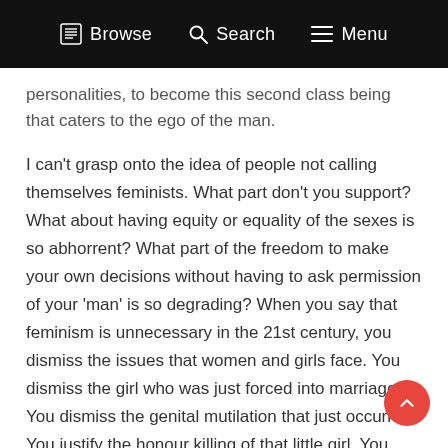Browse   Search   Menu
personalities, to become this second class being that caters to the ego of the man.
I can't grasp onto the idea of people not calling themselves feminists. What part don't you support? What about having equity or equality of the sexes is so abhorrent? What part of the freedom to make your own decisions without having to ask permission of your 'man' is so degrading? When you say that feminism is unnecessary in the 21st century, you dismiss the issues that women and girls face. You dismiss the girl who was just forced into marriage. You dismiss the genital mutilation that just occurred. You justify the honour killing of that little girl. You justify the acid being thrown at her because she simply had no interest